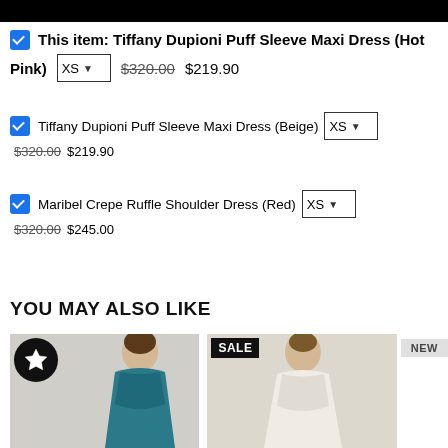[Figure (screenshot): Black header bar at the top of the page]
This item: Tiffany Dupioni Puff Sleeve Maxi Dress (Hot Pink) XS  $320.00 $219.90
Tiffany Dupioni Puff Sleeve Maxi Dress (Beige) XS  $320.00 $219.90
Maribel Crepe Ruffle Shoulder Dress (Red) XS  $320.00 $245.00
YOU MAY ALSO LIKE
[Figure (photo): Product image of a teal/blue dress on a model with a star badge overlay]
[Figure (photo): Product image of a white/cream dress on a model with a SALE badge overlay and a NEW badge]